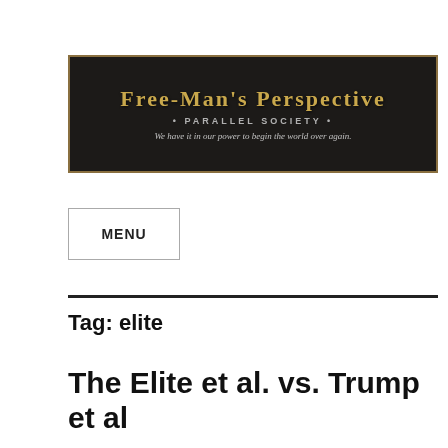[Figure (logo): Free-Man's Perspective – Parallel Society banner logo with dark background, gold/tan title text, subtitle '• PARALLEL SOCIETY •', and italic tagline 'We have it in our power to begin the world over again.']
MENU
Tag: elite
The Elite et al. vs. Trump et al